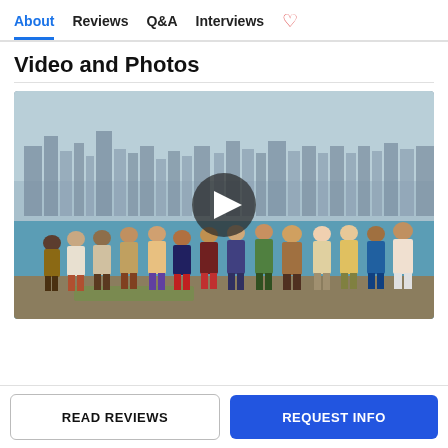About  Reviews  Q&A  Interviews
Video and Photos
[Figure (photo): Group photo of students standing near a lakefront with the Chicago city skyline in the background, with a video play button overlay in the center.]
READ REVIEWS
REQUEST INFO